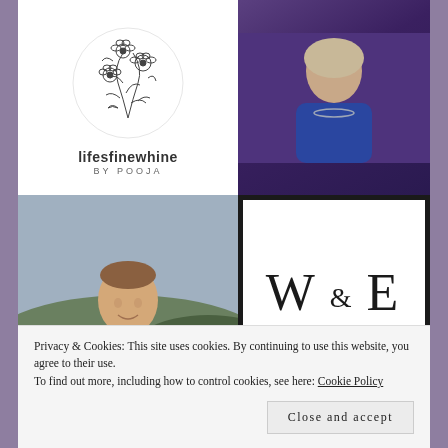[Figure (logo): lifesfinewhine by Pooja – circular floral illustration logo with text below]
[Figure (photo): Woman in blue top with necklace, portrait photo cropped at shoulders]
[Figure (logo): W & E logo in serif font with thick black border rectangle]
[Figure (photo): Man in suit smiling outdoors with vineyard/hills in background]
[Figure (photo): Colorful abstract paint splash in blue, orange, red]
[Figure (photo): Partial photo at bottom left, mostly cut off]
[Figure (photo): Partial colorful photo at bottom right, mostly cut off]
Privacy & Cookies: This site uses cookies. By continuing to use this website, you agree to their use.
To find out more, including how to control cookies, see here: Cookie Policy
Close and accept